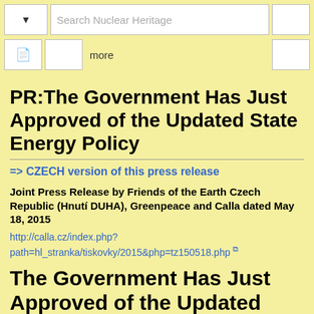Search Nuclear Heritage | more
PR:The Government Has Just Approved of the Updated State Energy Policy
=> CZECH version of this press release
Joint Press Release by Friends of the Earth Czech Republic (Hnutí DUHA), Greenpeace and Calla dated May 18, 2015
http://calla.cz/index.php?path=hl_stranka/tiskovky/2015&php=tz150518.php
The Government Has Just Approved of the Updated State Energy Policy
After years of delay, the government approved the update of the State Energy Policy (ASEK) of the Czech Republic. The ASEK shows some opportunities for the Czech energy sector. However, as a whole it is badly composed - it deliberately avoids the key issue of brown coal